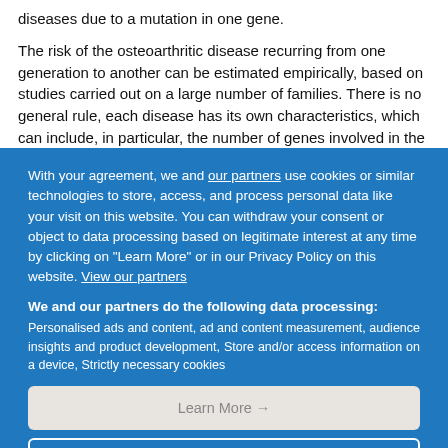diseases due to a mutation in one gene.
The risk of the osteoarthritic disease recurring from one generation to another can be estimated empirically, based on studies carried out on a large number of families. There is no general rule, each disease has its own characteristics, which can include, in particular, the number of genes involved in the development of the disease.
With your agreement, we and our partners use cookies or similar technologies to store, access, and process personal data like your visit on this website. You can withdraw your consent or object to data processing based on legitimate interest at any time by clicking on "Learn More" or in our Privacy Policy on this website. View our partners
We and our partners do the following data processing: Personalised ads and content, ad and content measurement, audience insights and product development, Store and/or access information on a device, Strictly necessary cookies
Learn More →
Disagree and close
Agree and close